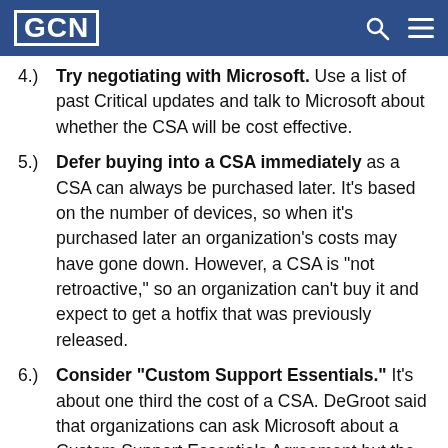GCN
4.) Try negotiating with Microsoft. Use a list of past Critical updates and talk to Microsoft about whether the CSA will be cost effective.
5.) Defer buying into a CSA immediately as a CSA can always be purchased later. It's based on the number of devices, so when it's purchased later an organization's costs may have gone down. However, a CSA is "not retroactive," so an organization can't buy it and expect to get a hotfix that was previously released.
6.) Consider "Custom Support Essentials." It's about one third the cost of a CSA. DeGroot said that organizations can ask Microsoft about a Custom Support Essentials Agreement but the company doesn't advertise it.